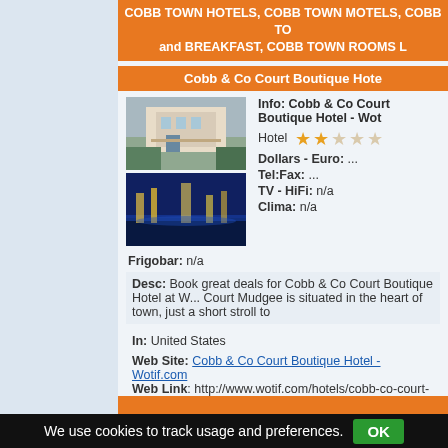COBB TOWN HOTELS, COBB TOWN MOTELS, COBB TO... and BREAKFAST, COBB TOWN ROOMS L...
Cobb & Co Court Boutique Hote...
[Figure (photo): Two photos of Cobb & Co Court Boutique Hotel: exterior building view and night cityscape]
Info: Cobb & Co Court Boutique Hotel - Wot...
Hotel ★★☆☆☆
Dollars - Euro: ...
Tel:Fax: ...
TV - HiFi: n/a
Clima: n/a
Frigobar: n/a
Desc: Book great deals for Cobb & Co Court Boutique Hotel at W... Court Mudgee is situated in the heart of town, just a short stroll to...
In: United States
Web Site: Cobb & Co Court Boutique Hotel - Wotif.com
Web Link: http://www.wotif.com/hotels/cobb-co-court-boutique-h...
We use cookies to track usage and preferences. OK